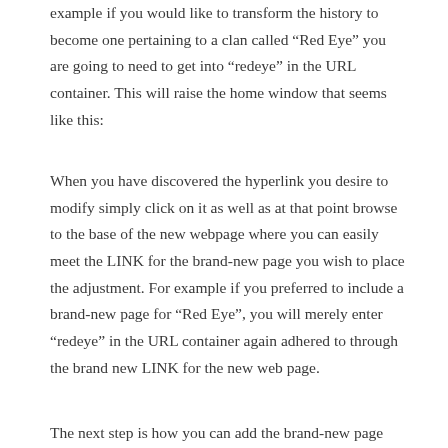example if you would like to transform the history to become one pertaining to a clan called “Red Eye” you are going to need to get into “redeye” in the URL container. This will raise the home window that seems like this:
When you have discovered the hyperlink you desire to modify simply click on it as well as at that point browse to the base of the new webpage where you can easily meet the LINK for the brand-new page you wish to place the adjustment. For example if you preferred to include a brand-new page for “Red Eye”, you will merely enter “redeye” in the URL container again adhered to through the brand new LINK for the new web page.
The next step is how you can add the brand-new page